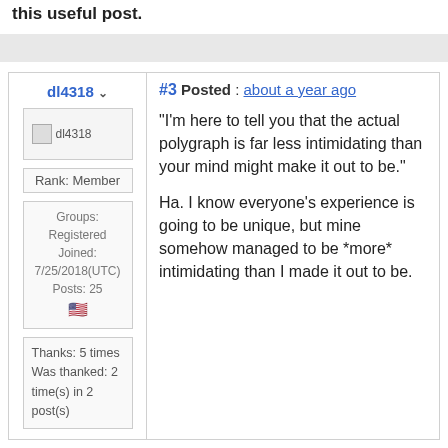this useful post.
#3 Posted : about a year ago
dl4318
[Figure (other): User avatar placeholder image for dl4318]
Rank: Member
Groups: Registered
Joined: 7/25/2018(UTC)
Posts: 25
"I'm here to tell you that the actual polygraph is far less intimidating than your mind might make it out to be."
Ha. I know everyone's experience is going to be unique, but mine somehow managed to be *more* intimidating than I made it out to be.
Thanks: 5 times
Was thanked: 2 time(s) in 2 post(s)